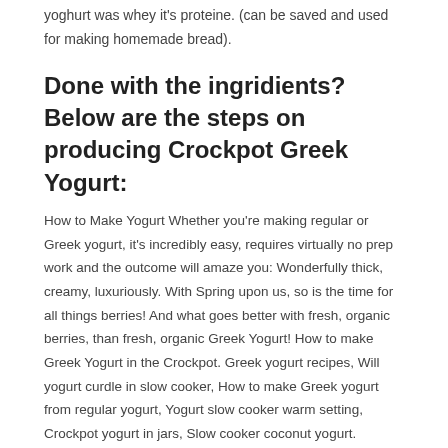yoghurt was whey it's proteine. (can be saved and used for making homemade bread).
Done with the ingridients? Below are the steps on producing Crockpot Greek Yogurt:
How to Make Yogurt Whether you're making regular or Greek yogurt, it's incredibly easy, requires virtually no prep work and the outcome will amaze you: Wonderfully thick, creamy, luxuriously. With Spring upon us, so is the time for all things berries! And what goes better with fresh, organic berries, than fresh, organic Greek Yogurt! How to make Greek Yogurt in the Crockpot. Greek yogurt recipes, Will yogurt curdle in slow cooker, How to make Greek yogurt from regular yogurt, Yogurt slow cooker warm setting, Crockpot yogurt in jars, Slow cooker coconut yogurt.
Recipe : Crockpot Greek Yogurt